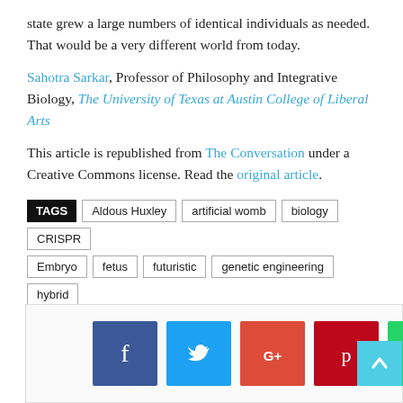state grew a large numbers of identical individuals as needed. That would be a very different world from today.
Sahotra Sarkar, Professor of Philosophy and Integrative Biology, The University of Texas at Austin College of Liberal Arts
This article is republished from The Conversation under a Creative Commons license. Read the original article.
TAGS  Aldous Huxley  artificial womb  biology  CRISPR  Embryo  fetus  futuristic  genetic engineering  hybrid  hybrids  Molecular biology  sci-fi  Science fiction
[Figure (infographic): Social sharing buttons: Facebook (blue), Twitter (cyan), Google+ (red-orange), Pinterest (dark red), WhatsApp (green), and a scroll-to-top button (light blue) with an upward arrow.]